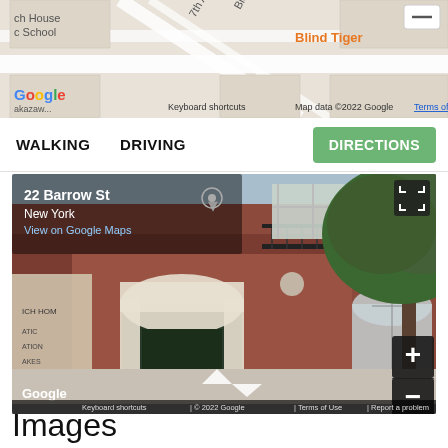[Figure (map): Google Maps thumbnail showing street map with Blind Tiger label, 7th Ave, Bleecker St visible. Google logo at bottom left. Keyboard shortcuts, Map data 2022 Google, Terms of Use labels at bottom.]
WALKING   DRIVING
DIRECTIONS
[Figure (photo): Google Street View of 22 Barrow St, New York - a red brick building with white arched entrance, iron balcony railings, and a large tree on the sidewalk. Address overlay shows '22 Barrow St, New York, View on Google Maps'. Bottom bar shows Keyboard shortcuts, © 2022 Google, Terms of Use, Report a problem. Google logo at bottom left.]
Images